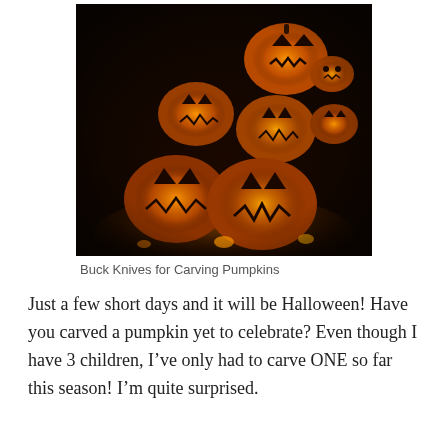[Figure (photo): A group of glowing carved jack-o-lantern pumpkins in a dark setting, lit from inside with warm orange candlelight]
Buck Knives for Carving Pumpkins
Just a few short days and it will be Halloween! Have you carved a pumpkin yet to celebrate? Even though I have 3 children, I’ve only had to carve ONE so far this season! I’m quite surprised.